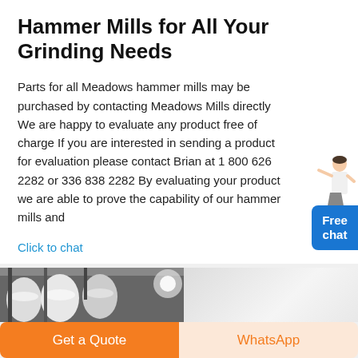Hammer Mills for All Your Grinding Needs
Parts for all Meadows hammer mills may be purchased by contacting Meadows Mills directly We are happy to evaluate any product free of charge If you are interested in sending a product for evaluation please contact Brian at 1 800 626 2282 or 336 838 2282 By evaluating your product we are able to prove the capability of our hammer mills and
Click to chat
[Figure (photo): Photograph of hammer mill equipment, showing multiple white cylindrical components and machinery parts in black and white.]
Get a Quote
WhatsApp